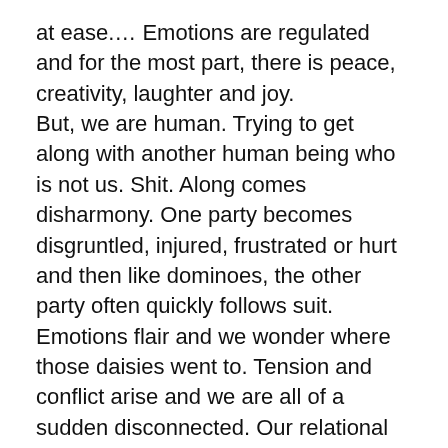at ease.... Emotions are regulated and for the most part, there is peace, creativity, laughter and joy.
But, we are human. Trying to get along with another human being who is not us. Shit. Along comes disharmony. One party becomes disgruntled, injured, frustrated or hurt and then like dominoes, the other party often quickly follows suit. Emotions flair and we wonder where those daisies went to. Tension and conflict arise and we are all of a sudden disconnected. Our relational engine has clogged and gunk is quickly accumulating. Not so fun anymore.
Two things about disharmony. First, disharmony is inevitable. It's called relationship in real life.